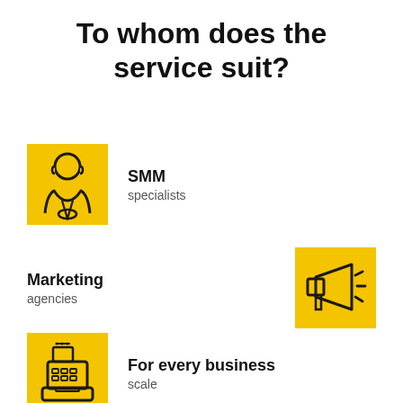To whom does the service suit?
[Figure (illustration): Yellow square background with a line-art icon of a business person (head and shoulders with tie)]
SMM specialists
Marketing agencies
[Figure (illustration): Yellow square background with a line-art icon of a megaphone with sound lines]
[Figure (illustration): Yellow square background with a line-art icon of a cash register]
For every business scale